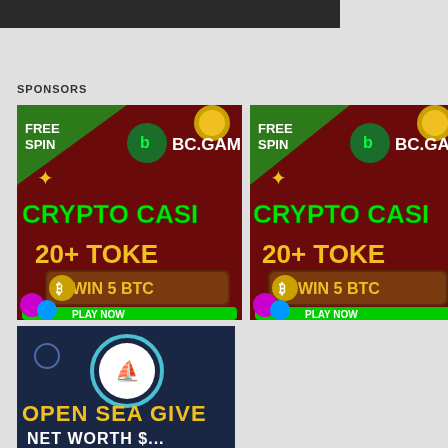[Figure (screenshot): Top dark navigation bar partially visible]
SPONSORS
[Figure (photo): BC.GAME crypto casino advertisement - FREE SPIN, CRYPTO CASINO, 20+ TOKENS, WIN 5 BTC, PLAY NOW]
[Figure (photo): BC.GAME crypto casino advertisement duplicate - FREE SPIN, CRYPTO CASINO, 20+ TOKENS, WIN 5 BTC, PLAY NOW]
[Figure (photo): OpenSea Giveaway advertisement - OPEN SEA GIVE, NET WORTH $...]